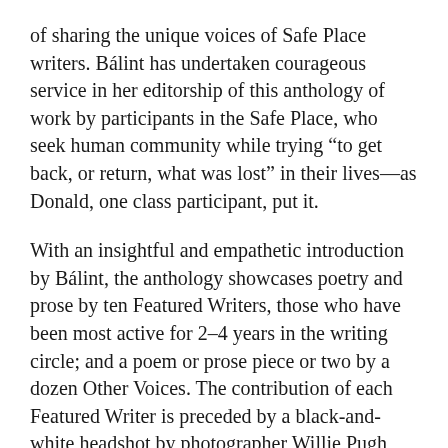of sharing the unique voices of Safe Place writers. Bálint has undertaken courageous service in her editorship of this anthology of work by participants in the Safe Place, who seek human community while trying “to get back, or return, what was lost” in their lives—as Donald, one class participant, put it.
With an insightful and empathetic introduction by Bálint, the anthology showcases poetry and prose by ten Featured Writers, those who have been most active for 2–4 years in the writing circle; and a poem or prose piece or two by a dozen Other Voices. The contribution of each Featured Writer is preceded by a black-and-white headshot by photographer Willie Pugh, and a biographical portrait written by Bálint—bios and photos which give us readers a sense of each writer’s history and background, touching in diplomatic manner